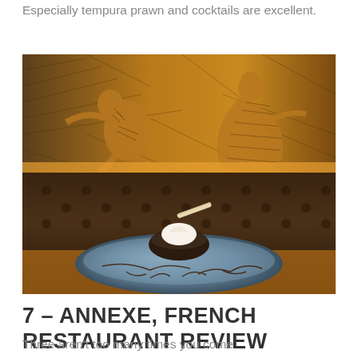Especially tempura prawn and cocktails are excellent.
[Figure (photo): Restaurant photo showing two panels: top panel with golden-lit mural artwork depicting figures in motion on a textured wall, bottom panel showing a dessert on a blue ceramic plate with chocolate sauce drizzle, cream topping, and a wafer stick, set against a dark tufted leather booth background.]
7 – ANNEXE, FRENCH RESTAURANT REVIEW
Three aren't too many times you come